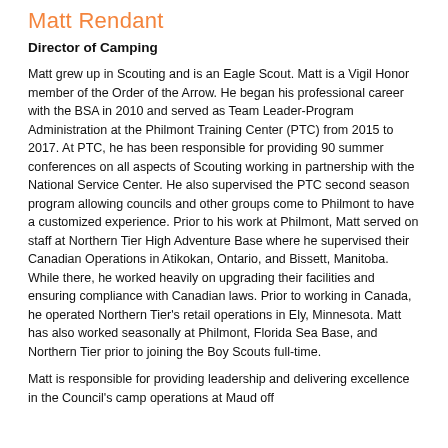Matt Rendant
Director of Camping
Matt grew up in Scouting and is an Eagle Scout. Matt is a Vigil Honor member of the Order of the Arrow. He began his professional career with the BSA in 2010 and served as Team Leader-Program Administration at the Philmont Training Center (PTC) from 2015 to 2017. At PTC, he has been responsible for providing 90 summer conferences on all aspects of Scouting working in partnership with the National Service Center. He also supervised the PTC second season program allowing councils and other groups come to Philmont to have a customized experience. Prior to his work at Philmont, Matt served on staff at Northern Tier High Adventure Base where he supervised their Canadian Operations in Atikokan, Ontario, and Bissett, Manitoba. While there, he worked heavily on upgrading their facilities and ensuring compliance with Canadian laws. Prior to working in Canada, he operated Northern Tier's retail operations in Ely, Minnesota. Matt has also worked seasonally at Philmont, Florida Sea Base, and Northern Tier prior to joining the Boy Scouts full-time.
Matt is responsible for providing leadership and delivering excellence in the Council's camp operations at Maud off...